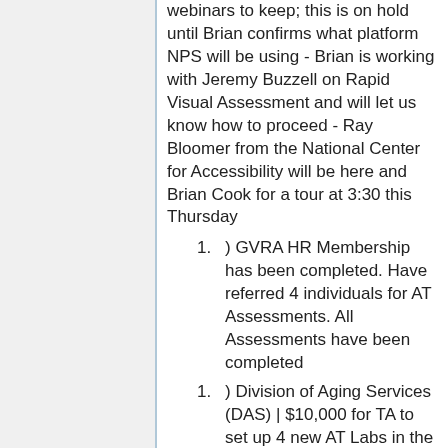webinars to keep; this is on hold until Brian confirms what platform NPS will be using - Brian is working with Jeremy Buzzell on Rapid Visual Assessment and will let us know how to proceed - Ray Bloomer from the National Center for Accessibility will be here and Brian Cook for a tour at 3:30 this Thursday
) GVRA HR Membership has been completed. Have referred 4 individuals for AT Assessments. All Assessments have been completed
) Division of Aging Services (DAS) | $10,000 for TA to set up 4 new AT Labs in the ADRCs - DAS has had turn-over/staffing changes, will continue to follow.
- Rachel has at least one MFP assessment ADRC 2019 Conference will